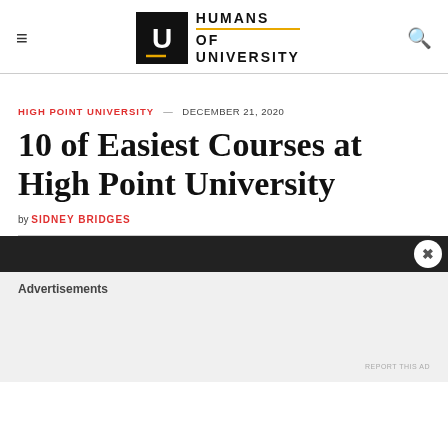Humans of University
HIGH POINT UNIVERSITY — DECEMBER 21, 2020
10 of Easiest Courses at High Point University
by SIDNEY BRIDGES
Advertisements